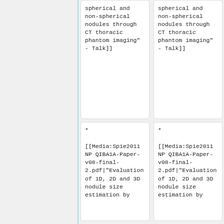spherical and non-spherical nodules through CT thoracic phantom imaging" - Talk]]
spherical and non-spherical nodules through CT thoracic phantom imaging" - Talk]]
* [[Media:Spie2011 NP QIBA1A-Paper-v08-final-2.pdf|"Evaluation of 1D, 2D and 3D nodule size estimation by
* [[Media:Spie2011 NP QIBA1A-Paper-v08-final-2.pdf|"Evaluation of 1D, 2D and 3D nodule size estimation by